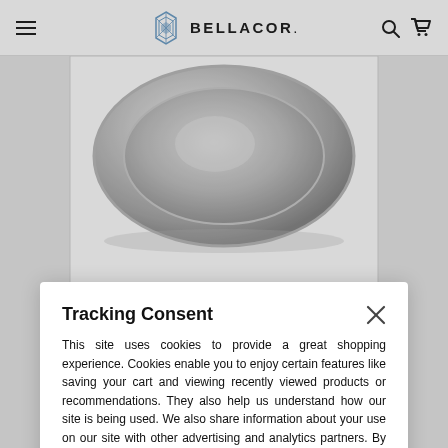BELLACOR.
[Figure (photo): Close-up of a brushed nickel / silver metallic bowl or lamp component, partially visible behind modal overlay]
Tracking Consent
This site uses cookies to provide a great shopping experience. Cookies enable you to enjoy certain features like saving your cart and viewing recently viewed products or recommendations. They also help us understand how our site is being used. We also share information about your use on our site with other advertising and analytics partners. By continuing to use our site you consent to our use of cookies. See our Privacy Policy for details.
Continue